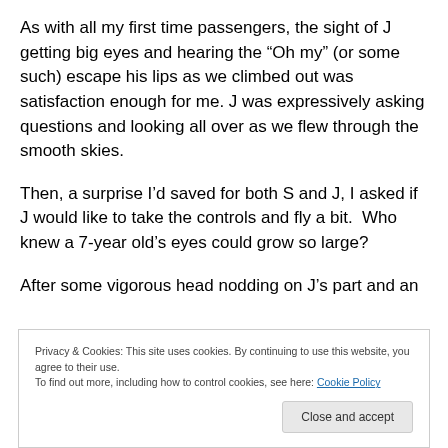As with all my first time passengers, the sight of J getting big eyes and hearing the “Oh my” (or some such) escape his lips as we climbed out was satisfaction enough for me. J was expressively asking questions and looking all over as we flew through the smooth skies.
Then, a surprise I’d saved for both S and J, I asked if J would like to take the controls and fly a bit.  Who knew a 7-year old’s eyes could grow so large?
After some vigorous head nodding on J’s part and an
Privacy & Cookies: This site uses cookies. By continuing to use this website, you agree to their use.
To find out more, including how to control cookies, see here: Cookie Policy